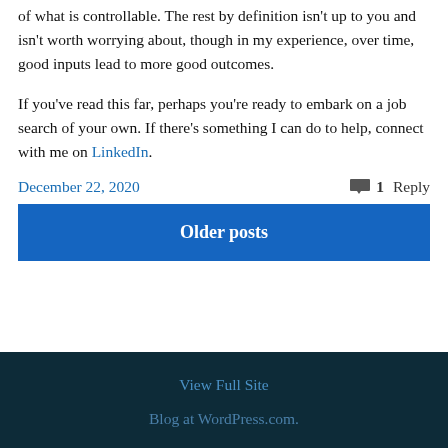of what is controllable. The rest by definition isn't up to you and isn't worth worrying about, though in my experience, over time, good inputs lead to more good outcomes.
If you've read this far, perhaps you're ready to embark on a job search of your own. If there's something I can do to help, connect with me on LinkedIn.
December 22, 2020
1 Reply
Older posts
View Full Site
Blog at WordPress.com.